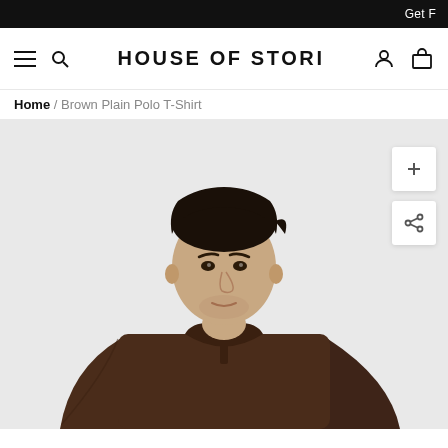Get F
HOUSE OF STORI
Home / Brown Plain Polo T-Shirt
[Figure (photo): A young man wearing a brown plain polo t-shirt, photographed against a light grey background. He has dark hair and is looking directly at the camera.]